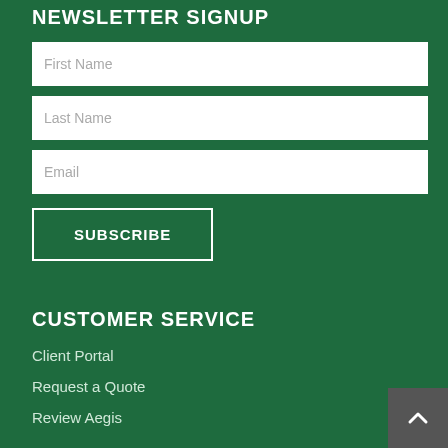NEWSLETTER SIGNUP
First Name
Last Name
Email
SUBSCRIBE
CUSTOMER SERVICE
Client Portal
Request a Quote
Review Aegis